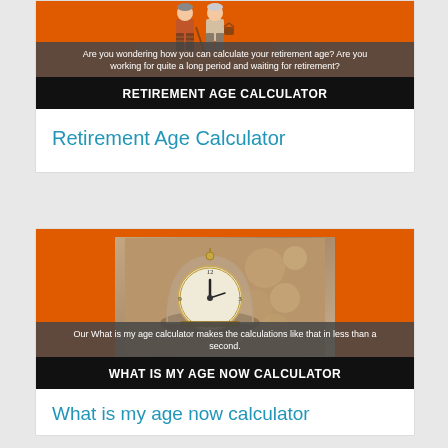[Figure (illustration): Orange background infographic card with illustration of elderly couple, gray text overlay, and black banner reading RETIREMENT AGE CALCULATOR]
Retirement Age Calculator
[Figure (photo): Orange background infographic card with photo of a vintage clock under glass dome, gray text overlay, and black banner reading WHAT IS MY AGE NOW CALCULATOR]
What is my age now calculator